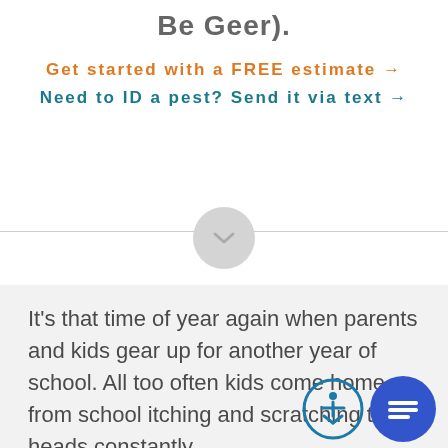Be Geer).
Get started with a FREE estimate →
Need to ID a pest? Send it via text →
[Figure (other): Circular chevron/down-arrow button on a horizontal divider line]
It's that time of year again when parents and kids gear up for another year of school. All too often kids come home from school itching and scratching their heads constantly
[Figure (other): Accessibility icon button (blue circle outline with person figure)]
[Figure (other): Chat icon button (solid blue circle with chat/message lines icon)]